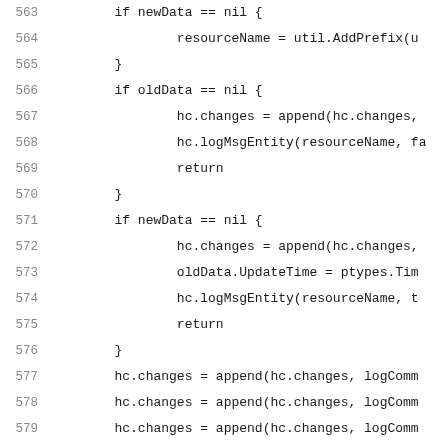563: if newData == nil {
564:     resourceName = util.AddPrefix(u...
565: }
566: if oldData == nil {
567:     hc.changes = append(hc.changes,
568:     hc.logMsgEntity(resourceName, fa...
569:     return
570: }
571: if newData == nil {
572:     hc.changes = append(hc.changes,
573:     oldData.UpdateTime = ptypes.Tim...
574:     hc.logMsgEntity(resourceName, t...
575:     return
576: }
577: hc.changes = append(hc.changes, logComm...
578: hc.changes = append(hc.changes, logComm...
579: hc.changes = append(hc.changes, logComm...
580: hc.changes = append(hc.changes, logComm...
581: hc.changes = append(hc.changes, logComm...
582: hc.changes = append(hc.changes, logComm...
583: hc.logMsgEntity(resourceName, false, ne...
584: }